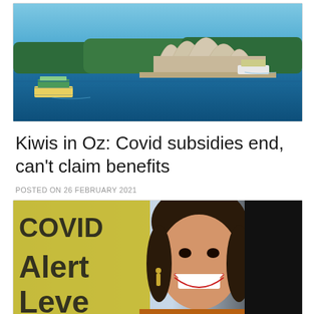[Figure (photo): Aerial photo of Sydney Opera House with harbour and ferries on blue water]
Kiwis in Oz: Covid subsidies end, can't claim benefits
POSTED ON 26 FEBRUARY 2021
[Figure (photo): Woman smiling broadly in front of a COVID Alert Level sign, wearing gold earrings]